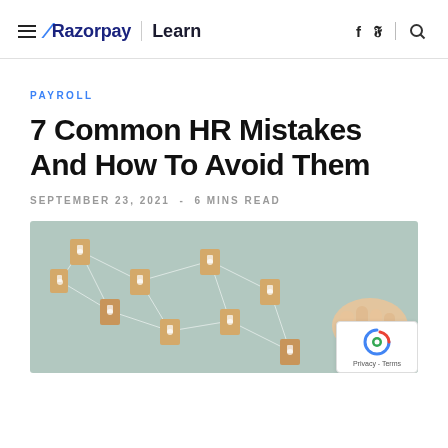Razorpay Learn — navigation header with hamburger menu, logo, social icons (f, twitter), and search icon
PAYROLL
7 Common HR Mistakes And How To Avoid Them
SEPTEMBER 23, 2021 - 6 MINS READ
[Figure (photo): Hero image showing wooden pieces connected by lines on a light teal background, with a hand visible on the right side — representing HR network or team connections]